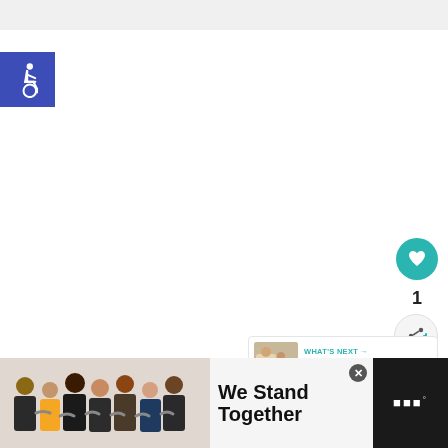[Figure (infographic): Wheelchair accessibility icon — white wheelchair symbol on blue/indigo background square]
[Figure (infographic): Teal circular like/heart button with heart icon]
1
[Figure (infographic): Light gray circular share button with share/add icon]
[Figure (infographic): What's Next card with thumbnail image and text: WHAT'S NEXT → FREE Kid's Workshops ...]
[Figure (infographic): Advertisement banner at bottom: group of people with arms around each other, text 'We Stand Together', close X button, and brand logo dots]